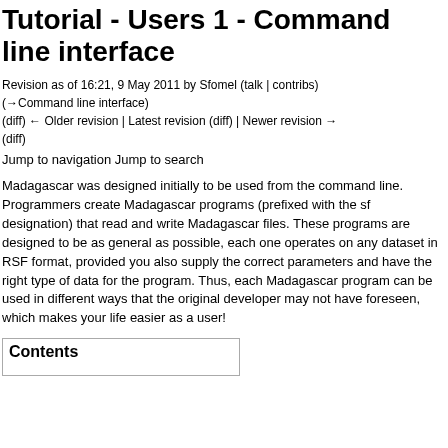Tutorial - Users 1 - Command line interface
Revision as of 16:21, 9 May 2011 by Sfomel (talk | contribs)
(→Command line interface)
(diff) ← Older revision | Latest revision (diff) | Newer revision → (diff)
Jump to navigation Jump to search
Madagascar was designed initially to be used from the command line. Programmers create Madagascar programs (prefixed with the sf designation) that read and write Madagascar files. These programs are designed to be as general as possible, each one operates on any dataset in RSF format, provided you also supply the correct parameters and have the right type of data for the program. Thus, each Madagascar program can be used in different ways that the original developer may not have foreseen, which makes your life easier as a user!
Contents